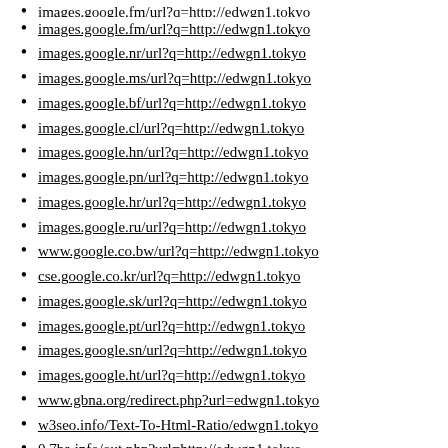images.google.fm/url?q=http://edwgn1.tokyo
images.google.nr/url?q=http://edwgn1.tokyo
images.google.ms/url?q=http://edwgn1.tokyo
images.google.bf/url?q=http://edwgn1.tokyo
images.google.cl/url?q=http://edwgn1.tokyo
images.google.hn/url?q=http://edwgn1.tokyo
images.google.pn/url?q=http://edwgn1.tokyo
images.google.hr/url?q=http://edwgn1.tokyo
images.google.ru/url?q=http://edwgn1.tokyo
www.google.co.bw/url?q=http://edwgn1.tokyo
cse.google.co.kr/url?q=http://edwgn1.tokyo
images.google.sk/url?q=http://edwgn1.tokyo
images.google.pt/url?q=http://edwgn1.tokyo
images.google.sn/url?q=http://edwgn1.tokyo
images.google.ht/url?q=http://edwgn1.tokyo
www.gbna.org/redirect.php?url=edwgn1.tokyo
w3seo.info/Text-To-Html-Ratio/edwgn1.tokyo
0.7ba.info/out.php?url=http://edwgn1.tokyo